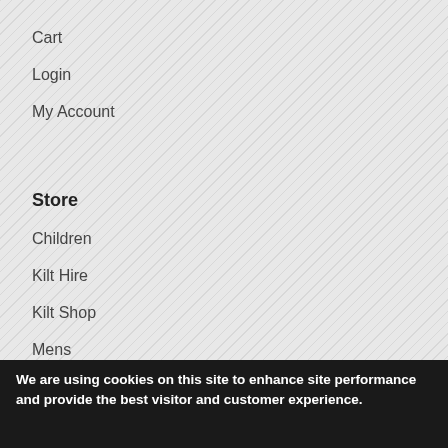Cart
Login
My Account
Store
Children
Kilt Hire
Kilt Shop
Mens
We are using cookies on this site to enhance site performance and provide the best visitor and customer experience.